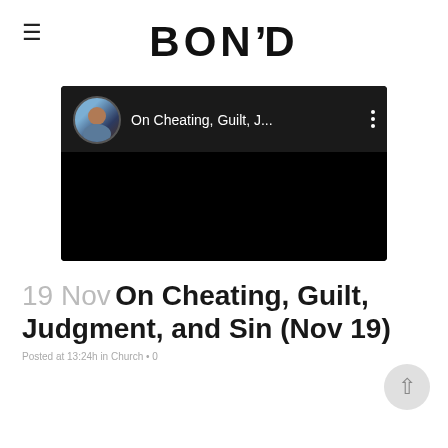BOND
[Figure (screenshot): YouTube video thumbnail preview showing 'On Cheating, Guilt, J...' with a circular avatar portrait and three-dot menu icon, dark/black background below.]
19 Nov On Cheating, Guilt, Judgment, and Sin (Nov 19)
Posted at 13:24h in Church • 0